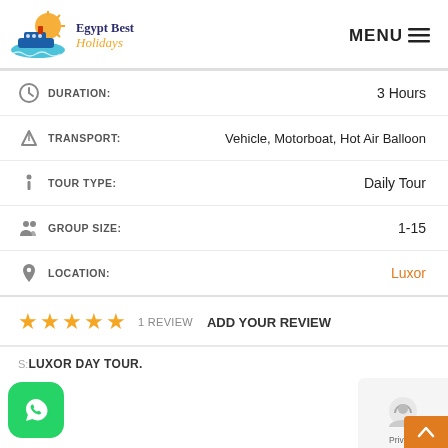[Figure (logo): Egypt Best Holidays logo with cruise ship, sunset, and stylized text]
MENU≡
| DURATION: | 3 Hours |
| TRANSPORT: | Vehicle, Motorboat, Hot Air Balloon |
| TOUR TYPE: | Daily Tour |
| GROUP SIZE: | 1-15 |
| LOCATION: | Luxor |
★★★★★  1 REVIEW  ADD YOUR REVIEW
S: LUXOR DAY TOUR.